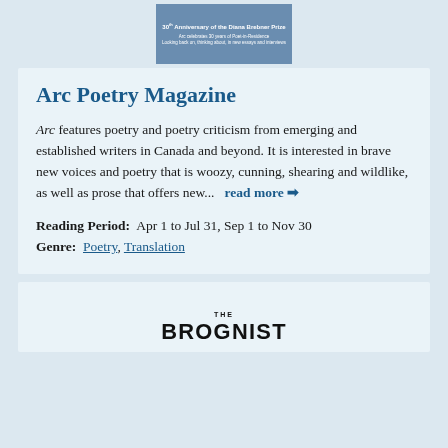[Figure (illustration): Arc Poetry Magazine cover thumbnail with blue background, text reading '30th Anniversary of the Diana Brebner Prize' and other text]
Arc Poetry Magazine
Arc features poetry and poetry criticism from emerging and established writers in Canada and beyond. It is interested in brave new voices and poetry that is woozy, cunning, shearing and wildlike, as well as prose that offers new...  read more →
Reading Period:  Apr 1 to Jul 31, Sep 1 to Nov 30
Genre:  Poetry, Translation
[Figure (logo): THE BROGNIST logo in bold black text at bottom of page]